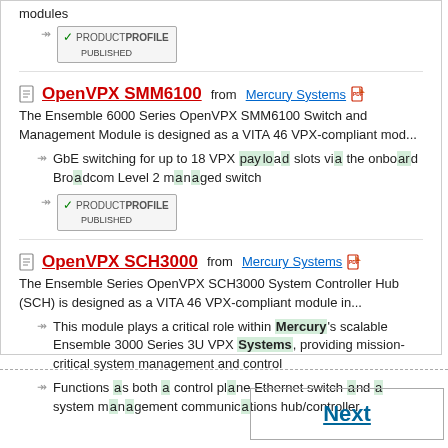modules
[Figure (other): Product Profile Published badge/button]
OpenVPX SMM6100 from Mercury Systems
The Ensemble 6000 Series OpenVPX SMM6100 Switch and Management Module is designed as a VITA 46 VPX-compliant mod...
GbE switching for up to 18 VPX payload slots via the onboard Broadcom Level 2 managed switch
[Figure (other): Product Profile Published badge/button]
OpenVPX SCH3000 from Mercury Systems
The Ensemble Series OpenVPX SCH3000 System Controller Hub (SCH) is designed as a VITA 46 VPX-compliant module in...
This module plays a critical role within Mercury's scalable Ensemble 3000 Series 3U VPX Systems, providing mission-critical system management and control
Functions as both a control plane Ethernet switch and a system management communications hub/controller
Next